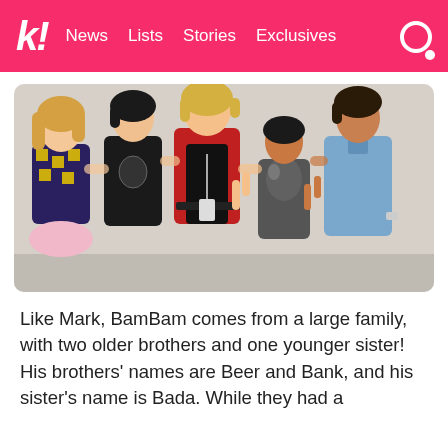k! News  Lists  Stories  Exclusives
[Figure (photo): Group photo of five young people posing together backstage or in a hallway. From left to right: a young woman with long blonde hair wearing a yellow and black patterned sweater and pink skirt; a young man with dark hair wearing a black graphic t-shirt; a tall young man with blonde hair wearing a red jacket over a black shirt making a peace sign; a shorter woman with dark hair wearing a sparkly top making a peace sign; and a young man in a light blue button-up shirt wearing a watch.]
Like Mark, BamBam comes from a large family, with two older brothers and one younger sister! His brothers' names are Beer and Bank, and his sister's name is Bada. While they had a